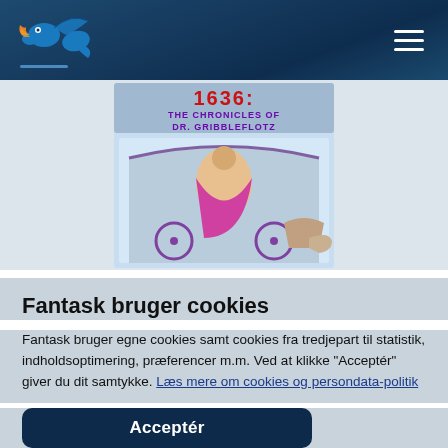Fantask navigation header with logo and hamburger menu
[Figure (illustration): Book cover for '1636: The Chronicles of Dr. Gribbleflotz' showing colorful illustrated cover with purple and gold text, ornate decorative carriage scene]
Fantask bruger cookies
Fantask bruger egne cookies samt cookies fra tredjepart til statistik, indholdsoptimering, præferencer m.m. Ved at klikke “Acceptér” giver du dit samtykke. Læs mere om cookies og persondata-politik
Acceptér